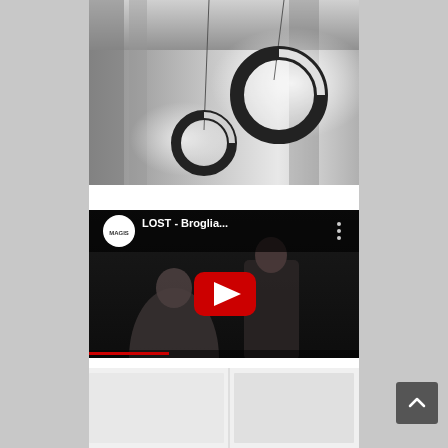[Figure (photo): Overhead view of two circular ring pendant lights hanging in a tall white/grey concrete space, illuminated with bright light on one side]
[Figure (screenshot): YouTube video thumbnail showing MAGIS channel video titled 'LOST - Broglia...' with two people in a dark room and a YouTube play button overlay]
[Figure (photo): Partial bottom strip showing the beginning of another image, appears to be white/light colored product photos]